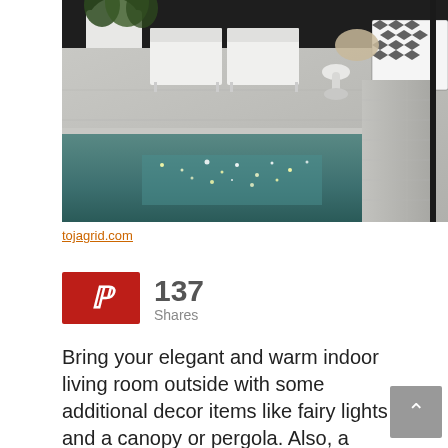[Figure (photo): Luxurious outdoor patio area with white modular sofas, large white planter, a small side table, houndstooth-patterned armchair, and a reflective teal pool with marble/stone tile surround. Golden light sparkles on the pool surface.]
tojagrid.com
[Figure (infographic): Pinterest share button (red background with white P logo) showing 137 Shares]
Bring your elegant and warm indoor living room outside with some additional decor items like fairy lights and a canopy or pergola. Also, a fireplace will be a perfect feature to make it warmer.